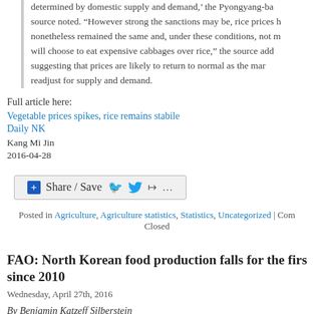determined by domestic supply and demand,' the Pyongyang-based source noted. 'However strong the sanctions may be, rice prices have nonetheless remained the same and, under these conditions, not many will choose to eat expensive cabbages over rice,' the source added, suggesting that prices are likely to return to normal as the market readjust for supply and demand.
Full article here:
Vegetable prices spikes, rice remains stabile
Daily NK
Kang Mi Jin
2016-04-28
[Figure (other): Share / Save button with Facebook, Twitter, and share icons]
Posted in Agriculture, Agriculture statistics, Statistics, Uncategorized | Comments Closed
FAO: North Korean food production falls for the first time since 2010
Wednesday, April 27th, 2016
By Benjamin Katzeff Silberstein
27 April 2016, Rome – North Korea's total food production – including cereals, soybeans and potatoes in cereal equivalent – is estimated